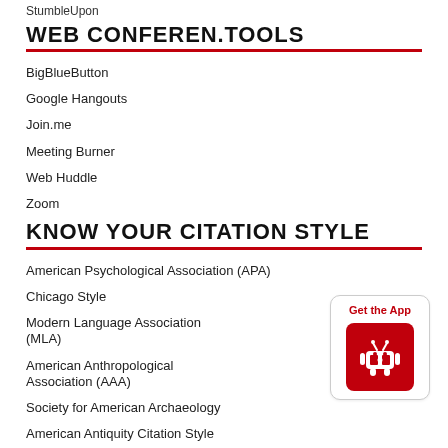StumbleUpon
WEB CONFEREN.TOOLS
BigBlueButton
Google Hangouts
Join.me
Meeting Burner
Web Huddle
Zoom
KNOW YOUR CITATION STYLE
American Psychological Association (APA)
Chicago Style
Modern Language Association (MLA)
American Anthropological Association (AAA)
Society for American Archaeology
American Antiquity Citation Style
American Medical Association (AMA)
American Political Science Association(APSA)
[Figure (illustration): Get the App button with Android robot icon on red background]